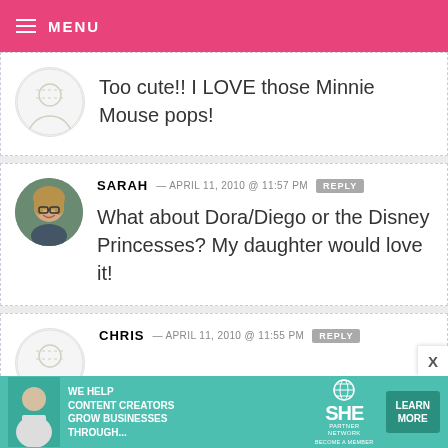MENU
Too cute!! I LOVE those Minnie Mouse pops!
SARAH — APRIL 11, 2010 @ 11:57 PM  REPLY
What about Dora/Diego or the Disney Princesses? My daughter would love it!
CHRIS — APRIL 11, 2010 @ 11:55 PM  REPLY
[Figure (infographic): SHE Partner Network advertisement banner: WE HELP CONTENT CREATORS GROW BUSINESSES THROUGH... with LEARN MORE button]